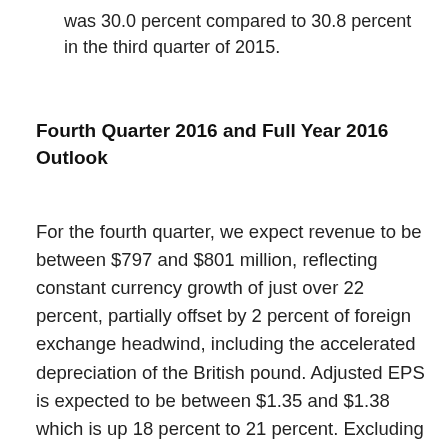was 30.0 percent compared to 30.8 percent in the third quarter of 2015.
Fourth Quarter 2016 and Full Year 2016 Outlook
For the fourth quarter, we expect revenue to be between $797 and $801 million, reflecting constant currency growth of just over 22 percent, partially offset by 2 percent of foreign exchange headwind, including the accelerated depreciation of the British pound. Adjusted EPS is expected to be between $1.35 and $1.38 which is up 18 percent to 21 percent. Excluding $0.03 per share negative impact from foreign exchange, this reflects constant currency EPS growth of 21